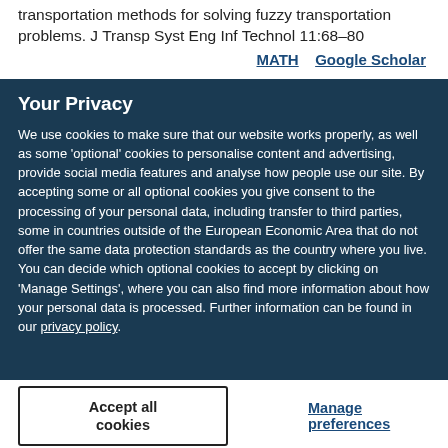transportation methods for solving fuzzy transportation problems. J Transp Syst Eng Inf Technol 11:68–80
MATH   Google Scholar
Your Privacy
We use cookies to make sure that our website works properly, as well as some 'optional' cookies to personalise content and advertising, provide social media features and analyse how people use our site. By accepting some or all optional cookies you give consent to the processing of your personal data, including transfer to third parties, some in countries outside of the European Economic Area that do not offer the same data protection standards as the country where you live. You can decide which optional cookies to accept by clicking on 'Manage Settings', where you can also find more information about how your personal data is processed. Further information can be found in our privacy policy.
Accept all cookies
Manage preferences